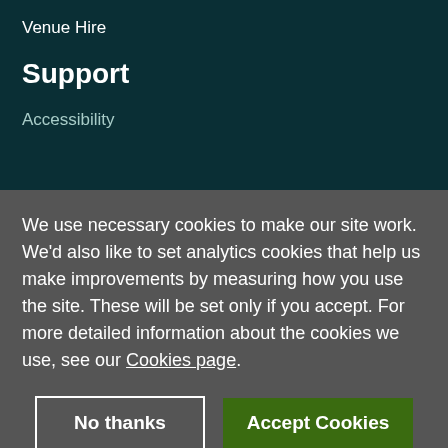Venue Hire
Support
Accessibility
We use necessary cookies to make our site work. We'd also like to set analytics cookies that help us make improvements by measuring how you use the site. These will be set only if you accept. For more detailed information about the cookies we use, see our Cookies page.
No thanks
Accept Cookies